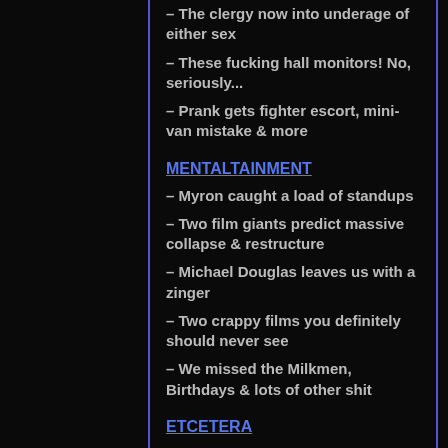– The clergy now into underage of either sex
– These fucking hall monitors! No, seriously...
– Prank gets fighter escort, mini-van mistake & more
MENTALTAINMENT
– Myron caught a load of standups
– Two film giants predict massive collapse & restructure
– Michael Douglas leaves us with a zinger
– Two crappy films you definitely should never see
– We missed the Milkmen, Birthdays & lots of other shit
ETCETERA